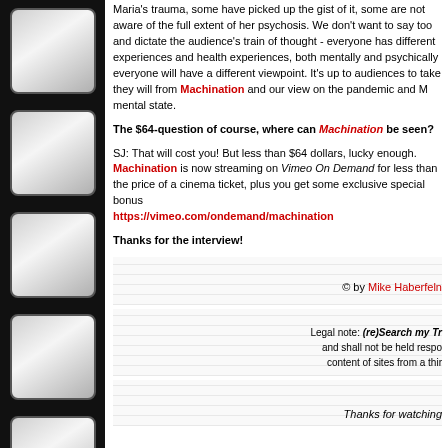Maria's trauma, some have picked up the gist of it, some are not aware of the full extent of her psychosis. We don't want to say too and dictate the audience's train of thought - everyone has different experiences and health experiences, both mentally and psychically everyone will have a different viewpoint. It's up to audiences to take they will from Machination and our view on the pandemic and M mental state.
The $64-question of course, where can Machination be seen?
SJ: That will cost you! But less than $64 dollars, lucky enough. Machination is now streaming on Vimeo On Demand for less than the price of a cinema ticket, plus you get some exclusive special bonus https://vimeo.com/ondemand/machination
Thanks for the interview!
© by Mike Haberfeln
Legal note: (re)Search my Trash and shall not be held responsible for the content of sites from a third party.
Thanks for watching